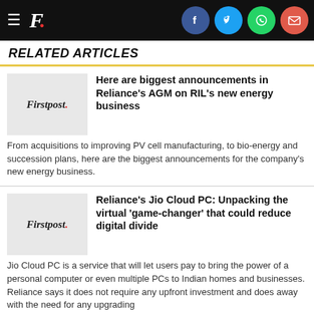Firstpost. [social icons: Facebook, Twitter, WhatsApp, Email]
RELATED ARTICLES
[Figure (logo): Firstpost logo thumbnail for article 1]
Here are biggest announcements in Reliance's AGM on RIL's new energy business
From acquisitions to improving PV cell manufacturing, to bio-energy and succession plans, here are the biggest announcements for the company's new energy business.
[Figure (logo): Firstpost logo thumbnail for article 2]
Reliance's Jio Cloud PC: Unpacking the virtual 'game-changer' that could reduce digital divide
Jio Cloud PC is a service that will let users pay to bring the power of a personal computer or even multiple PCs to Indian homes and businesses. Reliance says it does not require any upfront investment and does away with the need for any upgrading